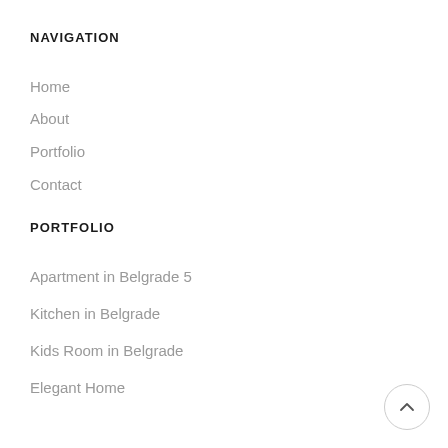NAVIGATION
Home
About
Portfolio
Contact
PORTFOLIO
Apartment in Belgrade 5
Kitchen in Belgrade
Kids Room in Belgrade
Elegant Home